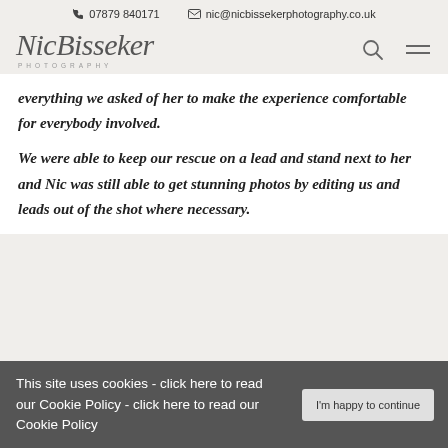07879 840171   nic@nicbissekerphotography.co.uk
[Figure (logo): Nic Bisseker Photography script logo with search and menu icons]
everything we asked of her to make the experience comfortable for everybody involved. We were able to keep our rescue on a lead and stand next to her and Nic was still able to get stunning photos by editing us and leads out of the shot where necessary.
This site uses cookies - click here to read our Cookie Policy - click here to read our Cookie Policy